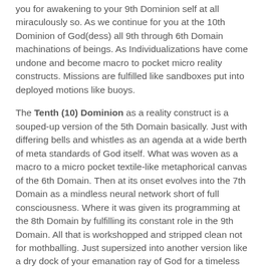you for awakening to your 9th Dominion self at all miraculously so. As we continue for you at the 10th Dominion of God(dess) all 9th through 6th Domain machinations of beings. As Individualizations have come undone and become macro to pocket micro reality constructs. Missions are fulfilled like sandboxes put into deployed motions like buoys.
The Tenth (10) Dominion as a reality construct is a souped-up version of the 5th Domain basically. Just with differing bells and whistles as an agenda at a wide berth of meta standards of God itself. What was woven as a macro to a micro pocket textile-like metaphorical canvas of the 6th Domain. Then at its onset evolves into the 7th Domain as a mindless neural network short of full consciousness. Where it was given its programming at the 8th Domain by fulfilling its constant role in the 9th Domain. All that is workshopped and stripped clean not for mothballing. Just supersized into another version like a dry dock of your emanation ray of God for a timeless basis of stasis.
The Eleventh (11) Dominion doesn't follow what preceded it